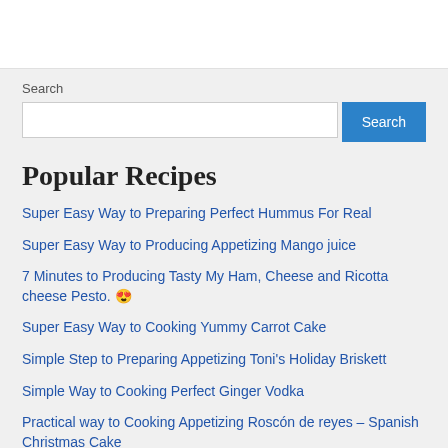Search
Search [input field] [Search button]
Popular Recipes
Super Easy Way to Preparing Perfect Hummus For Real
Super Easy Way to Producing Appetizing Mango juice
7 Minutes to Producing Tasty My Ham, Cheese and Ricotta cheese Pesto. 😍
Super Easy Way to Cooking Yummy Carrot Cake
Simple Step to Preparing Appetizing Toni's Holiday Briskett
Simple Way to Cooking Perfect Ginger Vodka
Practical way to Cooking Appetizing Roscón de reyes – Spanish Christmas Cake